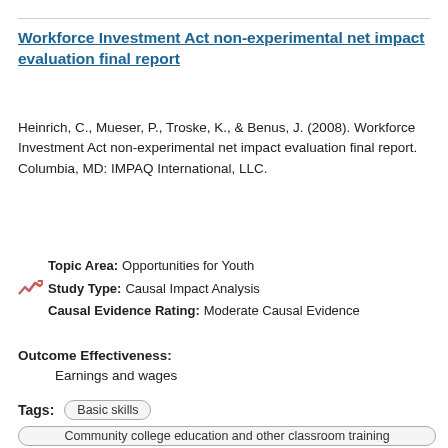Workforce Investment Act non-experimental net impact evaluation final report
Heinrich, C., Mueser, P., Troske, K., & Benus, J. (2008). Workforce Investment Act non-experimental net impact evaluation final report. Columbia, MD: IMPAQ International, LLC.
Topic Area: Opportunities for Youth
Study Type: Causal Impact Analysis
Causal Evidence Rating: Moderate Causal Evidence
Outcome Effectiveness:
Earnings and wages
Tags: Basic skills
Community college education and other classroom training